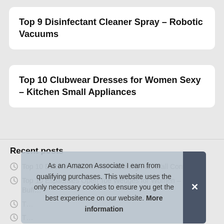Top 9 Disinfectant Cleaner Spray – Robotic Vacuums
Top 10 Clubwear Dresses for Women Sexy – Kitchen Small Appliances
Recent posts
Top 10 Decora LED Dimmer – Ceiling Fan Wall Controls
Top 10 Espadrilles Open Toe Wedges for Women – Floor Buff…
T…
T…
As an Amazon Associate I earn from qualifying purchases. This website uses the only necessary cookies to ensure you get the best experience on our website. More information